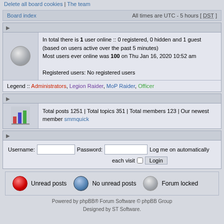Delete all board cookies | The team
| Board index | All times are UTC - 5 hours [ DST ] |
| --- | --- |
In total there is 1 user online :: 0 registered, 0 hidden and 1 guest (based on users active over the past 5 minutes)
Most users ever online was 100 on Thu Jan 16, 2020 10:52 am
Registered users: No registered users
Legend :: Administrators, Legion Raider, MoP Raider, Officer
Total posts 1251 | Total topics 351 | Total members 123 | Our newest member smmquick
Username: [input] Password: [input] Log me on automatically each visit [checkbox] Login
[Figure (infographic): Forum legend icons: red ball = Unread posts, blue ball = No unread posts, grey ball = Forum locked]
Powered by phpBB® Forum Software © phpBB Group
Designed by ST Software.